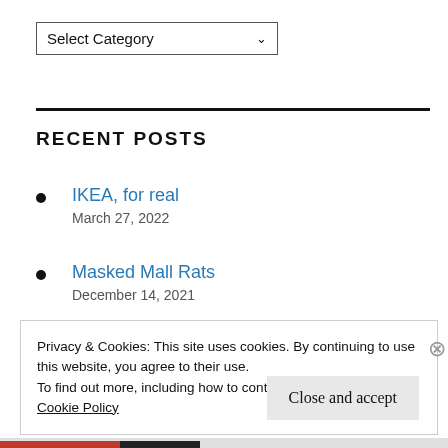[Figure (screenshot): Dropdown selector showing 'Select Category' with a chevron/down arrow]
RECENT POSTS
IKEA, for real
March 27, 2022
Masked Mall Rats
December 14, 2021
Privacy & Cookies: This site uses cookies. By continuing to use this website, you agree to their use.
To find out more, including how to control cookies, see here:
Cookie Policy
Close and accept